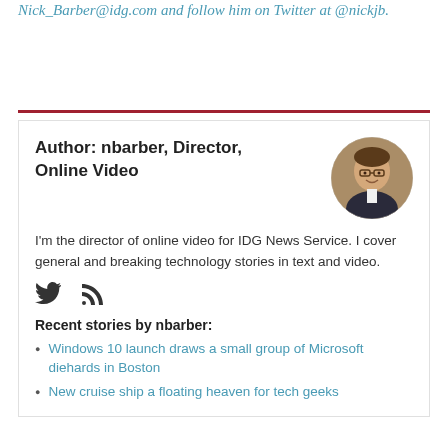Nick_Barber@idg.com and follow him on Twitter at @nickjb.
Author: nbarber, Director, Online Video
[Figure (photo): Circular headshot photo of nbarber, a man wearing glasses and a suit jacket, smiling, with a brick wall background.]
I'm the director of online video for IDG News Service. I cover general and breaking technology stories in text and video.
[Figure (other): Twitter bird icon and RSS feed icon social media symbols]
Recent stories by nbarber:
Windows 10 launch draws a small group of Microsoft diehards in Boston
New cruise ship a floating heaven for tech geeks